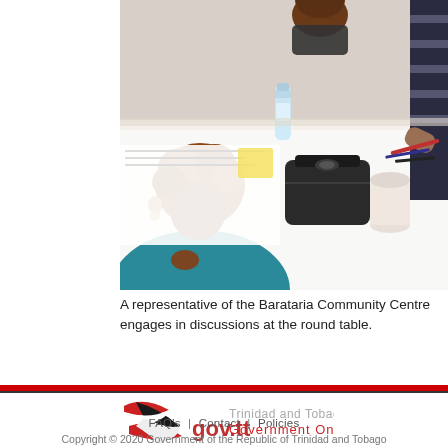[Figure (photo): A person with short curly hair wearing a teal/blue top seated at a round table with other participants during a community discussion meeting. Items on the table include water bottles, papers, and a black handbag.]
A representative of the Barataria Community Centre engages in discussions at the round table.
[Figure (logo): gov.tt Trinidad and Tobago Government Online logo with a stylized Trinidad and Tobago flag graphic in red, black and white.]
FAQ's  |  Contact  |  Policies
Copyright © 2020 Government of the Republic of Trinidad and Tobago